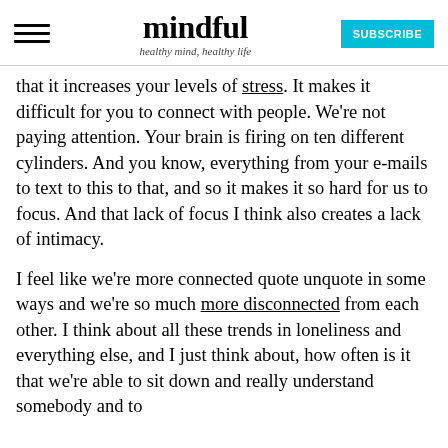mindful — healthy mind, healthy life
that it increases your levels of stress. It makes it difficult for you to connect with people. We're not paying attention. Your brain is firing on ten different cylinders. And you know, everything from your e-mails to text to this to that, and so it makes it so hard for us to focus. And that lack of focus I think also creates a lack of intimacy.
I feel like we're more connected quote unquote in some ways and we're so much more disconnected from each other. I think about all these trends in loneliness and everything else, and I just think about, how often is it that we're able to sit down and really understand somebody and to be a resource for the ability?